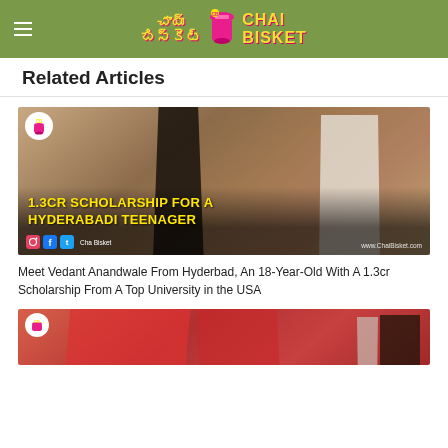Chai Bisket
Related Articles
[Figure (photo): Two young men at a speaking event, with text overlay reading '1.3CR SCHOLARSHIP FOR A HYDERABADI TEENAGER'. Chai Bisket logo badge in top left, social media icons at bottom left, watermark www.ChaiBisket.com at bottom right.]
Meet Vedant Anandwale From Hyderbad, An 18-Year-Old With A 1.3cr Scholarship From A Top University in the USA
[Figure (photo): Partial view of a second article image showing red banners/flags and a person.]